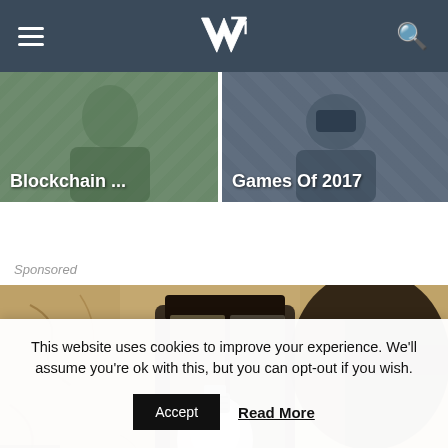[Figure (screenshot): Navigation bar with hamburger menu, VR logo, and search icon on dark slate background]
[Figure (photo): Article thumbnail: Blockchain article with text overlay 'Blockchain ...' on green-tinted photo]
[Figure (photo): Article thumbnail: Games Of 2017 article with text overlay on blue-grey tinted photo]
Sponsored
[Figure (photo): Sponsored advertisement image showing a close-up of a black outdoor lantern with Edison-style bulb mounted on a textured sandy wall]
This website uses cookies to improve your experience. We'll assume you're ok with this, but you can opt-out if you wish.
Accept
Read More